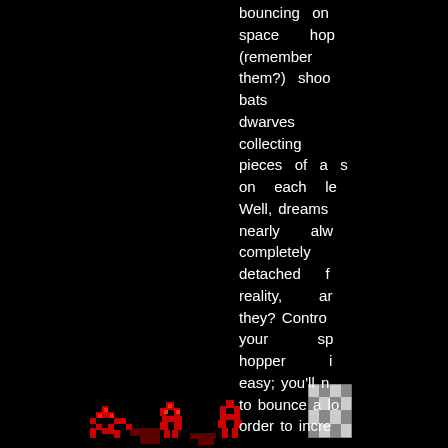[Figure (screenshot): Dark black background with red pixel-art creature figures at the bottom left and a checkered block sprite near the center-bottom. This appears to be a retro video game screenshot.]
bouncing on space hoppers (remember them?) shooting bats dwarves collecting pieces of a s on each le Well, dreams nearly alw completely detached f reality, ar they? Control your sp hopper i easy; you'll n to bounce a lo order to incre